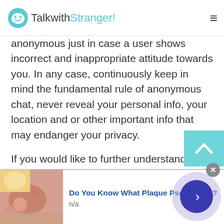TalkwithStranger!
anonymous just in case a user shows incorrect and inappropriate attitude towards you. In any case, continuously keep in mind the fundamental rule of anonymous chat, never reveal your personal info, your location and or other important info that may endanger your privacy.
If you would like to further understand the subject of safe chit chat online then we would like to invite you to browse this article that may clarify all the doubts regarding your security in a very public chat, click here to visit us.
[Figure (infographic): Advertisement banner: image of skin condition on left, text 'Do You Know What Plaque Psoriasis Is?' with 'n/a' subtitle, close button and navigation arrow button on right]